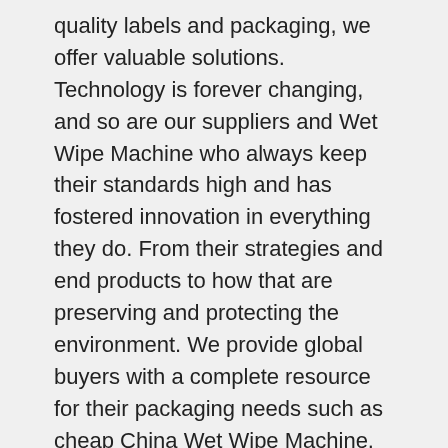quality labels and packaging, we offer valuable solutions. Technology is forever changing, and so are our suppliers and Wet Wipe Machine who always keep their standards high and has fostered innovation in everything they do. From their strategies and end products to how that are preserving and protecting the environment. We provide global buyers with a complete resource for their packaging needs such as cheap China Wet Wipe Machine. You can also find other packaging and printing solutions such as wet tissue machine, wet wipes packing machine, wet tissue packing machine with competitive price.
That's why I was intrigued by this cleaning hack from Brightside.me. You simply add a wet wipe to a normal wash cycle, and it will attract any loose pet hair, dirt, or lint from your laundry as it washes, leaving your clothes cleaner-looking without having to break out the lint roller. Basically, the wet wipe acts like a dryer sheet, but for your washing machine. Eworldtrade.com is committed to provide machine with high efficiency and long lasting durable parts for increased life. The